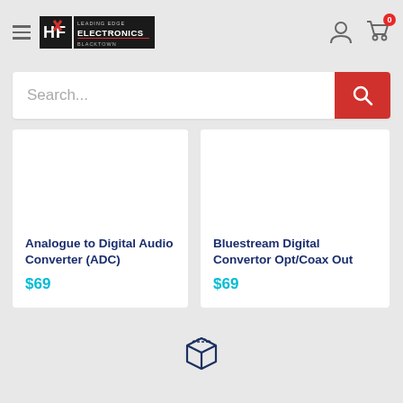Leading Edge Electronics Blacktown - navigation header with hamburger menu, logo, user icon, cart icon (0 items)
Search...
Analogue to Digital Audio Converter (ADC)
$69
Bluestream Digital Convertor Opt/Coax Out
$69
[Figure (illustration): A 3D box / package icon outline in dark navy/teal color]